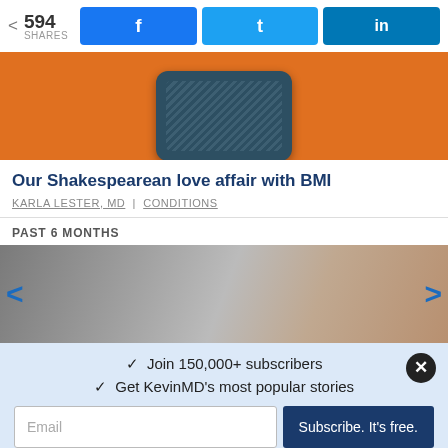< 594 SHARES | Facebook | Twitter | LinkedIn
[Figure (photo): Orange background with dark teal/slate colored tablet or phone device shown from above]
Our Shakespearean love affair with BMI
KARLA LESTER, MD | CONDITIONS
PAST 6 MONTHS
[Figure (photo): Close-up blurred photo of a stethoscope and a person in the background]
✓  Join 150,000+ subscribers
✓  Get KevinMD's most popular stories
Email  |  Subscribe. It's free.